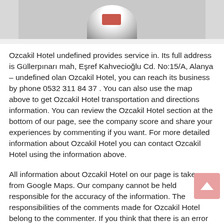[Figure (photo): Partial bottom view of a logo or map pin image, mostly cropped, showing a circular emblem with a red element in the center, against a light gray background.]
Ozcakil Hotel undefined provides service in. Its full address is Güllerpınarı mah, Eşref Kahvecioğlu Cd. No:15/A, Alanya – undefined olan Ozcakil Hotel, you can reach its business by phone 0532 311 84 37 . You can also use the map above to get Ozcakil Hotel transportation and directions information. You can review the Ozcakil Hotel section at the bottom of our page, see the company score and share your experiences by commenting if you want. For more detailed information about Ozcakil Hotel you can contact Ozcakil Hotel using the information above.
All information about Ozcakil Hotel on our page is taken from Google Maps. Our company cannot be held responsible for the accuracy of the information. The responsibilities of the comments made for Ozcakil Hotel belong to the commenter. If you think that there is an error or deficiency in Ozcakil Hotel belong to the commenter. If you think that there is an error or deficiency in Ozcakil Hotel about the business information to the